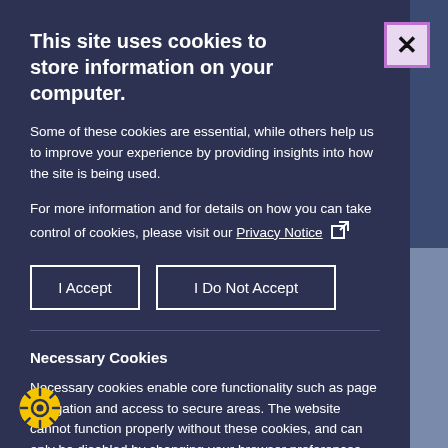This site uses cookies to store information on your computer.
Some of these cookies are essential, while others help us to improve your experience by providing insights into how the site is being used.
For more information and for details on how you can take control of cookies, please visit our Privacy Notice
I Accept | I Do Not Accept
Necessary Cookies
Necessary cookies enable core functionality such as page navigation and access to secure areas. The website cannot function properly without these cookies, and can only be disabled by changing your browser preferences.